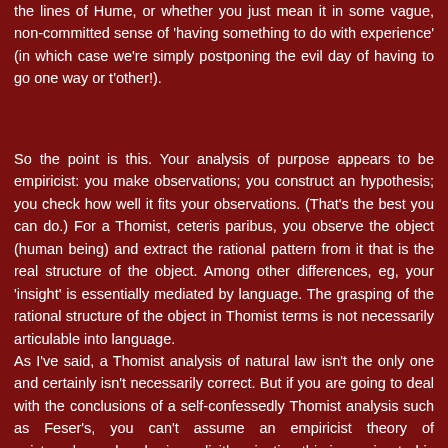the lines of Hume, or whether you just mean it in some vague, non-committed sense of 'having something to do with experience' (in which case we're simply postponing the evil day of having to go one way or t'other!).
So the point is this. Your analysis of purpose appears to be empiricist: you make observations; you construct an hypothesis; you check how well it fits your observations. (That's the best you can do.) For a Thomist, ceteris paribus, you observe the object (human being) and extract the rational pattern from it that is the real structure of the object. Among other differences, eg, your 'insight' is essentially mediated by language. The grasping of the rational structure of the object in Thomist terms is not necessarily articulable into language.
As I've said, a Thomist analysis of natural law isn't the only one and certainly isn't necessarily correct. But if you are going to deal with the conclusions of a self-confessedly Thomist analysis such as Feser's, you can't assume an empiricist theory of epistemology when he is explicitly rejecting this in coming to his conclusions. You need to tackle the underlying system directly (here its